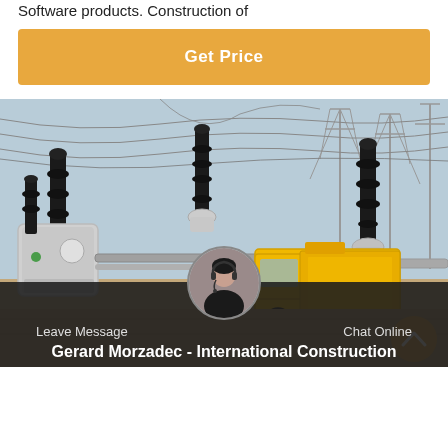Software products. Construction of
Get Price
[Figure (photo): Electrical substation with high-voltage equipment, transmission towers, insulators, and a yellow utility truck in the foreground.]
Leave Message
Chat Online
Gerard Morzadec - International Construction